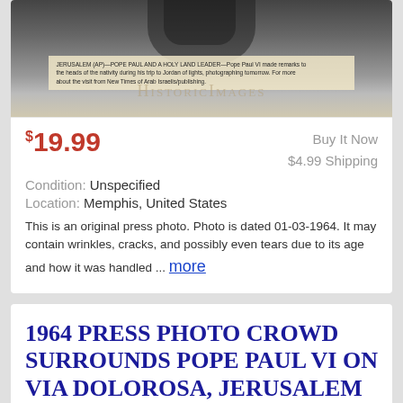[Figure (photo): Top portion of a black and white historic press photo with HistoricImages watermark and caption strip]
$19.99
Buy It Now
$4.99 Shipping
Condition: Unspecified
Location: Memphis, United States
This is an original press photo. Photo is dated 01-03-1964. It may contain wrinkles, cracks, and possibly even tears due to its age and how it was handled ... more
1964 PRESS PHOTO CROWD SURROUNDS POPE PAUL VI ON VIA DOLOROSA, JERUSALEM
[Figure (photo): Black and white press photo showing a crowd of people, partial view with HistoricImages watermark]